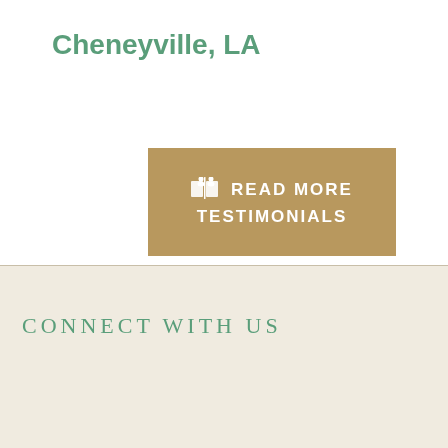Cheneyville, LA
[Figure (other): Button with book icon reading READ MORE TESTIMONIALS on a tan/khaki background]
CONNECT WITH US